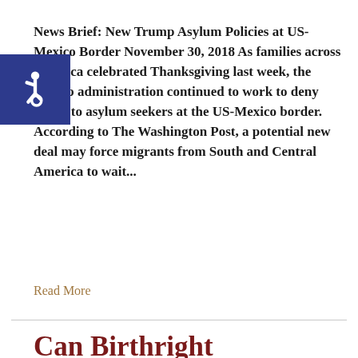News Brief: New Trump Asylum Policies at US-Mexico Border November 30, 2018 As families across America celebrated Thanksgiving last week, the Trump administration continued to work to deny rights to asylum seekers at the US-Mexico border. According to The Washington Post, a potential new deal may force migrants from South and Central America to wait...
Read More
Can Birthright Citizenship Be Revoked?